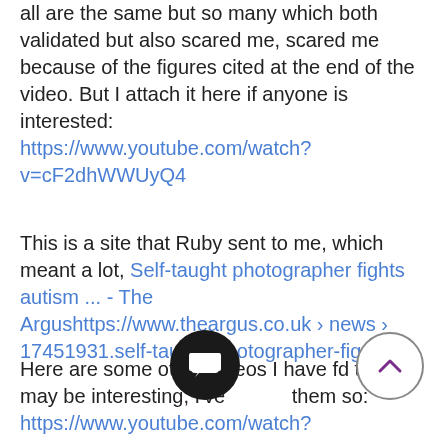all are the same but so many which both validated but also scared me, scared me because of the figures cited at the end of the video. But I attach it here if anyone is interested: https://www.youtube.com/watch?v=cF2dhWWUyQ4
This is a site that Ruby sent to me, which meant a lot, Self-taught photographer fights autism ... - The Argushttps://www.theargus.co.uk › news › 17451931.self-taught-photographer-fig...
Here are some other videos I have found that may be interesting, I've them so: https://www.youtube.com/watch?